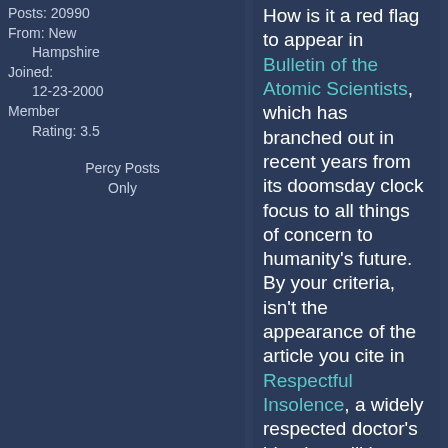Posts: 20990
From: New Hampshire
Joined: 12-23-2000
Member Rating: 3.5

Percy Posts Only
How is it a red flag to appear in Bulletin of the Atomic Scientists, which has branched out in recent years from its doomsday clock focus to all things of concern to humanity's future. By your criteria, isn't the appearance of the article you cite in Respectful Insolence, a widely respected doctor's blog but still just a blog, much more a red flag?
Because it's not a journal with a great deal of expertise in this area.
quote:
By your criteria, isn't the appearance of the article you cite in Respectful Insolence, a widely respected doctor's blog but still just a blog, much